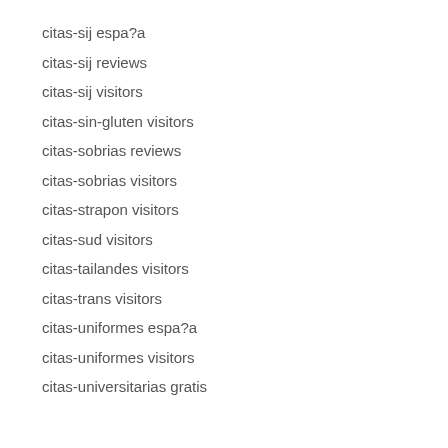citas-sij espa?a
citas-sij reviews
citas-sij visitors
citas-sin-gluten visitors
citas-sobrias reviews
citas-sobrias visitors
citas-strapon visitors
citas-sud visitors
citas-tailandes visitors
citas-trans visitors
citas-uniformes espa?a
citas-uniformes visitors
citas-universitarias gratis